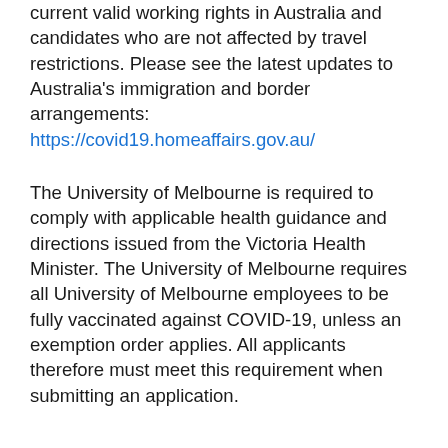current valid working rights in Australia and candidates who are not affected by travel restrictions. Please see the latest updates to Australia's immigration and border arrangements:
https://covid19.homeaffairs.gov.au/
The University of Melbourne is required to comply with applicable health guidance and directions issued from the Victoria Health Minister. The University of Melbourne requires all University of Melbourne employees to be fully vaccinated against COVID-19, unless an exemption order applies. All applicants therefore must meet this requirement when submitting an application.